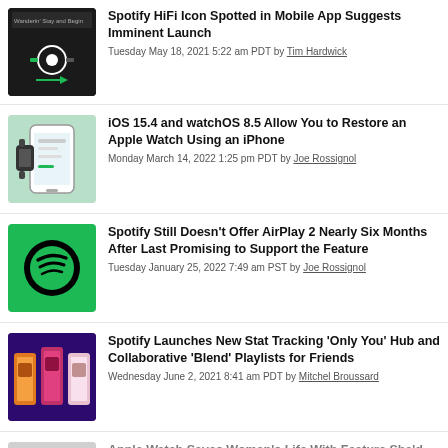Spotify HiFi Icon Spotted in Mobile App Suggests Imminent Launch
Tuesday May 18, 2021 5:22 am PDT by Tim Hardwick
iOS 15.4 and watchOS 8.5 Allow You to Restore an Apple Watch Using an iPhone
Monday March 14, 2022 1:25 pm PDT by Joe Rossignol
Spotify Still Doesn't Offer AirPlay 2 Nearly Six Months After Last Promising to Support the Feature
Tuesday January 25, 2022 7:49 am PST by Joe Rossignol
Spotify Launches New Stat Tracking 'Only You' Hub and Collaborative 'Blend' Playlists for Friends
Wednesday June 2, 2021 8:41 am PDT by Mitchel Broussard
Apple Watch Saves Woman's Life With Feature She'd Never Heard Of
Wednesday March 23, 2022 1:59 am PDT by Hartley Charlton